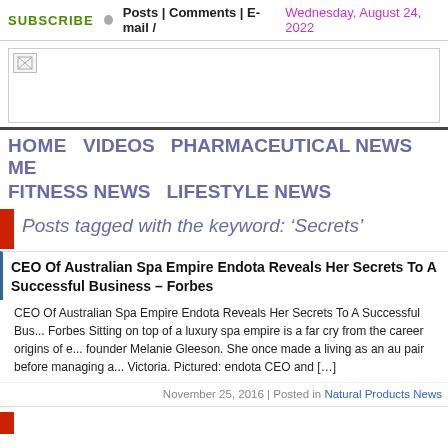SUBSCRIBE  ●  Posts | Comments | E-mail /  Wednesday, August 24, 2022
[Figure (other): Website banner/logo image placeholder with broken image icon]
HOME   VIDEOS   PHARMACEUTICAL NEWS   ME...   FITNESS NEWS   LIFESTYLE NEWS
Posts tagged with the keyword: 'Secrets'
CEO Of Australian Spa Empire Endota Reveals Her Secrets To A Successful Business – Forbes
CEO Of Australian Spa Empire Endota Reveals Her Secrets To A Successful Bus... Forbes Sitting on top of a luxury spa empire is a far cry from the career origins of e... founder Melanie Gleeson. She once made a living as an au pair before managing a... Victoria. Pictured: endota CEO and […]
November 25, 2016 | Posted in Natural Products News